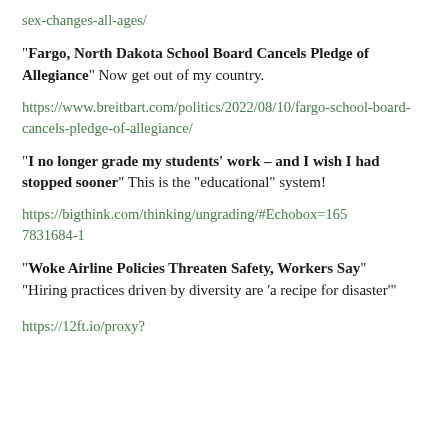sex-changes-all-ages/
"Fargo, North Dakota School Board Cancels Pledge of Allegiance" Now get out of my country.
https://www.breitbart.com/politics/2022/08/10/fargo-school-board-cancels-pledge-of-allegiance/
"I no longer grade my students' work – and I wish I had stopped sooner" This is the "educational" system!
https://bigthink.com/thinking/ungrading/#Echobox=1657831684-1
"Woke Airline Policies Threaten Safety, Workers Say" "Hiring practices driven by diversity are 'a recipe for disaster'"
https://12ft.io/proxy?